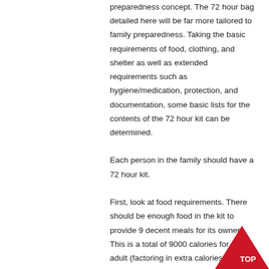preparedness concept. The 72 hour bag detailed here will be far more tailored to family preparedness. Taking the basic requirements of food, clothing, and shelter as well as extended requirements such as hygiene/medication, protection, and documentation, some basic lists for the contents of the 72 hour kit can be determined.

Each person in the family should have a 72 hour kit.

First, look at food requirements. There should be enough food in the kit to provide 9 decent meals for its owner. This is a total of 9000 calories for an adult (factoring in extra calories in case of exertion). Of course, this is emergency food, so ideally something that supplies required nutrition and has a long shelf life is available.  One such suggestion is a high energy food bar, such as
[Figure (other): Red arrow/chevron pointing up with text 'TOP' in white, positioned at bottom-right corner]